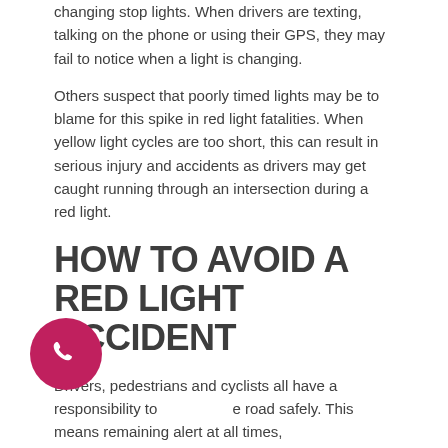changing stop lights. When drivers are texting, talking on the phone or using their GPS, they may fail to notice when a light is changing.
Others suspect that poorly timed lights may be to blame for this spike in red light fatalities. When yellow light cycles are too short, this can result in serious injury and accidents as drivers may get caught running through an intersection during a red light.
HOW TO AVOID A RED LIGHT ACCIDENT
Drivers, pedestrians and cyclists all have a responsibility to use the road safely. This means remaining alert at all times, especially when crossing an intersection. In order to avoid a red light accident, AAA recommends that drivers, cyclists and